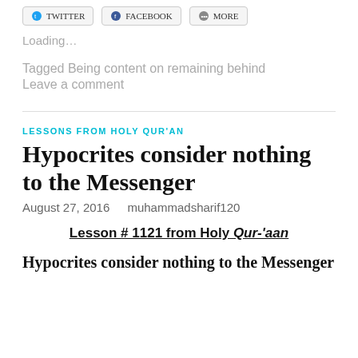[Figure (other): Social share buttons: Twitter, Facebook, More]
Loading...
Tagged Being content on remaining behind
Leave a comment
LESSONS FROM HOLY QUR'AN
Hypocrites consider nothing to the Messenger
August 27, 2016   muhammadsharif120
Lesson # 1121 from Holy Qur-'aan
Hypocrites consider nothing to the Messenger